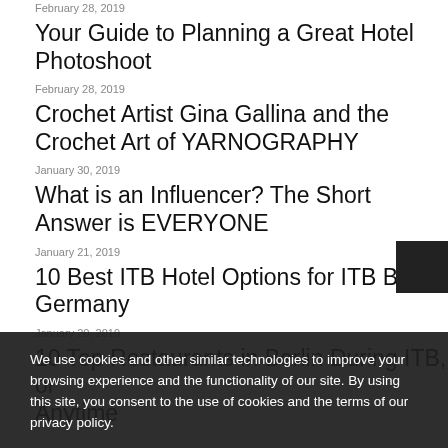February 28, 2019
Your Guide to Planning a Great Hotel Photoshoot
February 28, 2019
Crochet Artist Gina Gallina and the Crochet Art of YARNOGRAPHY
January 30, 2019
What is an Influencer? The Short Answer is EVERYONE
January 21, 2019
10 Best ITB Hotel Options for ITB Berlin, Germany
January 20, 2019
10 Top Restaurants in Berlin During ITB, or Anytime
We use cookies and other similar technologies to improve your browsing experience and the functionality of our site. By using this site, you consent to the use of cookies and the terms of our privacy policy.